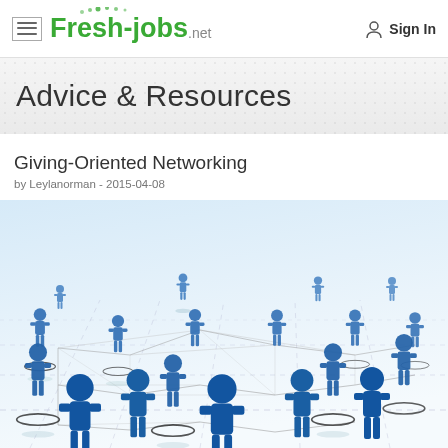Fresh-jobs.net — Sign In
Advice & Resources
Giving-Oriented Networking
by Leylanorman - 2015-04-08
[Figure (illustration): 3D illustration of a network of blue human figure icons connected by dashed and solid lines on a white reflective grid surface, representing professional networking connections.]